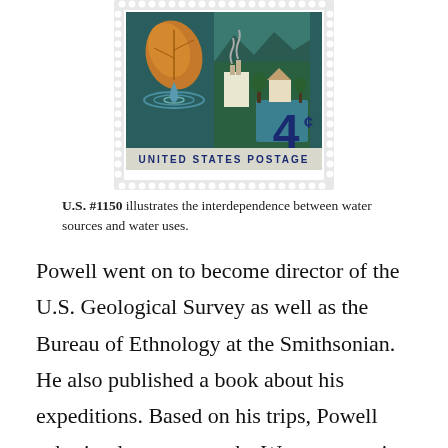[Figure (illustration): A U.S. 4-cent postage stamp (#1150) showing interdependence between water sources and water uses. The stamp depicts an autumn leaf over water ripples on the left and an industrial/rural water scene on the right, with 'UNITED STATES POSTAGE' text and '4¢' denomination.]
U.S. #1150 illustrates the interdependence between water sources and water uses.
Powell went on to become director of the U.S. Geological Survey as well as the Bureau of Ethnology at the Smithsonian. He also published a book about his expeditions. Based on his trips, Powell submitted a report on the West, suggesting state boundaries and irrigation systems based on watershed areas, to prevent disagreements among the states. He also had suggestions for conservation that railroad companies didn't agree with. In the end, Congress never acted the